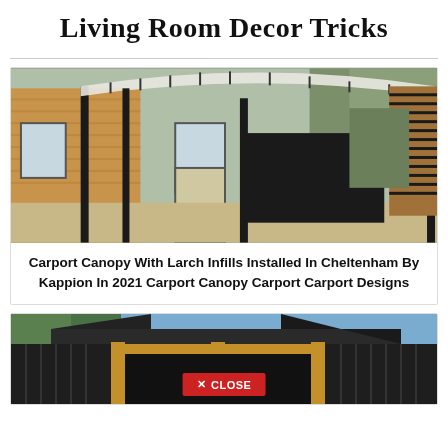Living Room Decor Tricks
[Figure (photo): Photo of a carport canopy with larch infill panels installed beside a brick house, showing arched polycarbonate roof and wooden slatted side panel, viewed from inside looking outward.]
Carport Canopy With Larch Infills Installed In Cheltenham By Kappion In 2021 Carport Canopy Carport Carport Designs
[Figure (photo): Photo showing a dark-roofed carport/garage structure with oak timber frame and dark corrugated panels, with a red CLOSE button overlay at the bottom.]